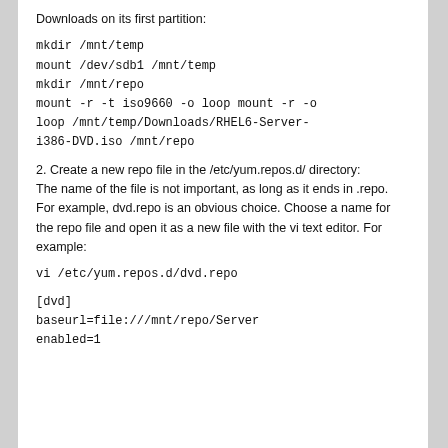Downloads on its first partition:
mkdir /mnt/temp
mount /dev/sdb1 /mnt/temp
mkdir /mnt/repo
mount -r -t iso9660 -o loop mount -r -o loop /mnt/temp/Downloads/RHEL6-Server-i386-DVD.iso /mnt/repo
2. Create a new repo file in the /etc/yum.repos.d/ directory:
The name of the file is not important, as long as it ends in .repo. For example, dvd.repo is an obvious choice. Choose a name for the repo file and open it as a new file with the vi text editor. For example:
vi /etc/yum.repos.d/dvd.repo
[dvd]
baseurl=file:///mnt/repo/Server
enabled=1